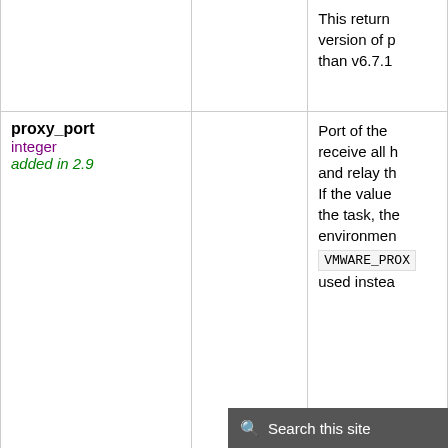| Parameter | Choices/Default | Description |
| --- | --- | --- |
| (continued row — partial) |  | This return version of p than v6.7.1 |
| proxy_port
integer
added in 2.9 |  | Port of the receive all h and relay th If the value the task, the environmen VMWARE_PROX used instea |
| use_instance_uuid
boolean
added in 2.8 | Choices:
• no ← (default)
• yes | Whether to instance UU BIOS UUID |
| username
string |  | The userna vCenter or If the value the task, the environmen VMWARE_USER instead. Environmen added in An |